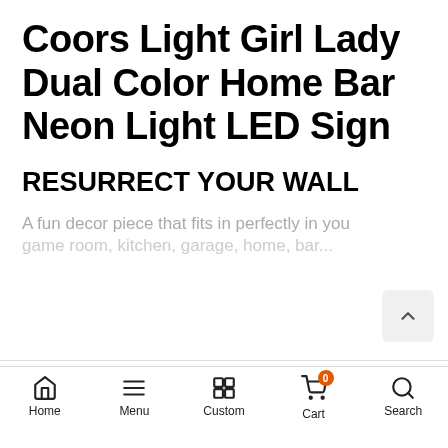Coors Light Girl Lady Dual Color Home Bar Neon Light LED Sign
RESURRECT YOUR WALL
A fun decor piece that fits in perfectly in you game room, kitchen, garage, home, bar...
Red & Blue / Small (12 x 8 Inches)
- 1 +  ADD TO CART
Home  Menu  Custom  Cart  Search